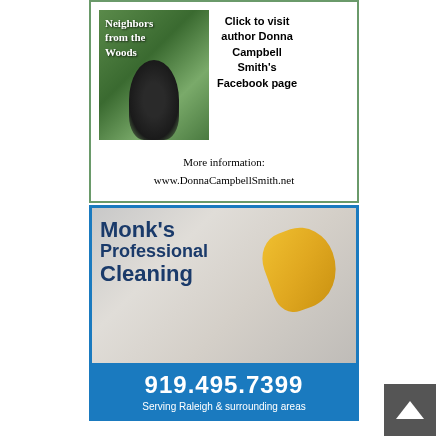[Figure (advertisement): Book advertisement for 'Neighbors from the Woods' by Donna Campbell Smith. Shows a book cover with a dark figure in a green wooded setting. Text says 'Click to visit author Donna Campbell Smith's Facebook page'. Below: 'More information: www.DonnaCampbellSmith.net'. Bordered with green outline.]
[Figure (advertisement): Monk's Professional Cleaning advertisement. Blue-bordered ad with photo of cleaning glove scrubbing tiles. Large bold dark blue text reads 'Monk's Professional Cleaning'. Blue bottom section shows phone number '919.495.7399' and text 'Serving Raleigh & surrounding areas'.]